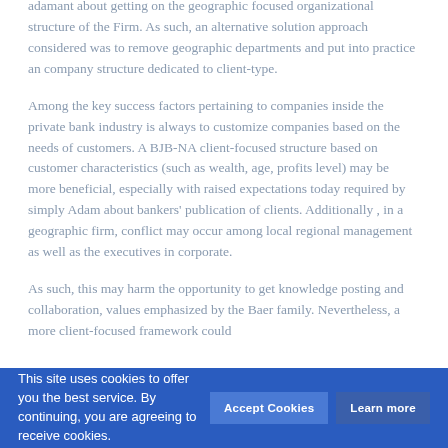adamant about getting on the geographic focused organizational structure of the Firm. As such, an alternative solution approach considered was to remove geographic departments and put into practice an company structure dedicated to client-type.
Among the key success factors pertaining to companies inside the private bank industry is always to customize companies based on the needs of customers. A BJB-NA client-focused structure based on customer characteristics (such as wealth, age, profits level) may be more beneficial, especially with raised expectations today required by simply Adam about bankers' publication of clients. Additionally , in a geographic firm, conflict may occur among local regional management as well as the executives in corporate.
As such, this may harm the opportunity to get knowledge posting and collaboration, values emphasized by the Baer family. Nevertheless, a more client-focused framework could
This site uses cookies to offer you the best service. By continuing, you are agreeing to receive cookies.